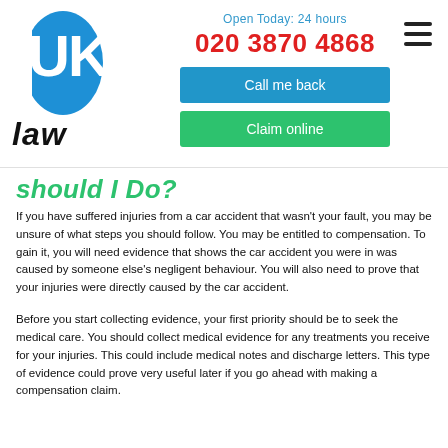[Figure (logo): UK Law logo: blue oval with white UK letters, italic 'law' text below]
Open Today: 24 hours
020 3870 4868
Call me back
Claim online
should I Do?
If you have suffered injuries from a car accident that wasn't your fault, you may be unsure of what steps you should follow. You may be entitled to compensation. To gain it, you will need evidence that shows the car accident you were in was caused by someone else's negligent behaviour. You will also need to prove that your injuries were directly caused by the car accident.
Before you start collecting evidence, your first priority should be to seek the medical care. You should collect medical evidence for any treatments you receive for your injuries. This could include medical notes and discharge letters. This type of evidence could prove very useful later if you go ahead with making a compensation claim.